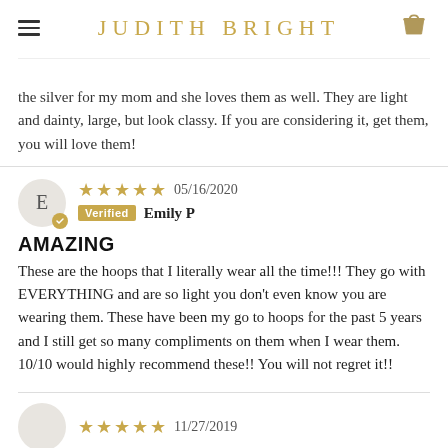JUDITH BRIGHT
the silver for my mom and she loves them as well. They are light and dainty, large, but look classy. If you are considering it, get them, you will love them!
★★★★★ 05/16/2020 Verified Emily P
AMAZING
These are the hoops that I literally wear all the time!!! They go with EVERYTHING and are so light you don't even know you are wearing them. These have been my go to hoops for the past 5 years and I still get so many compliments on them when I wear them. 10/10 would highly recommend these!! You will not regret it!!
★★★★★ 11/27/2019